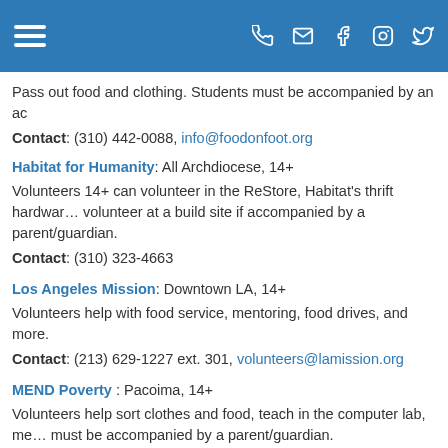Navigation header with hamburger menu and social icons
Pass out food and clothing. Students must be accompanied by an ac
Contact: (310) 442-0088, info@foodonfoot.org
Habitat for Humanity: All Archdiocese, 14+
Volunteers 14+ can volunteer in the ReStore, Habitat's thrift hardwar… volunteer at a build site if accompanied by a parent/guardian.
Contact: (310) 323-4663
Los Angeles Mission: Downtown LA, 14+
Volunteers help with food service, mentoring, food drives, and more.
Contact: (213) 629-1227 ext. 301, volunteers@lamission.org
MEND Poverty: Pacoima, 14+
Volunteers help sort clothes and food, teach in the computer lab, me… must be accompanied by a parent/guardian.
Contact: (818) 896-0246, volunteering@mendpoverty.org
Midnight Mission: Downtown LA, 14+